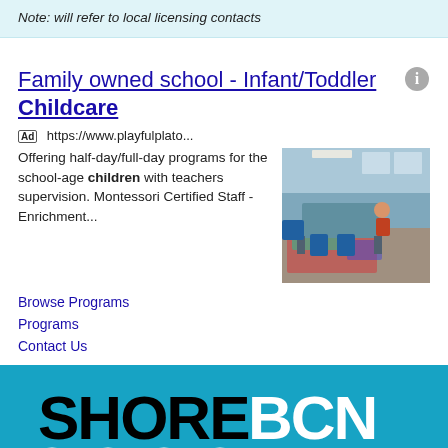Note: will refer to local licensing contacts
Family owned school - Infant/Toddler Childcare
Ad https://www.playfulplato... Offering half-day/full-day programs for the school-age children with teachers supervision. Montessori Certified Staff - Enrichment...
Browse Programs
Programs
Contact Us
[Figure (logo): SHORE BCN logo on cyan/blue background with wave underline decoration]